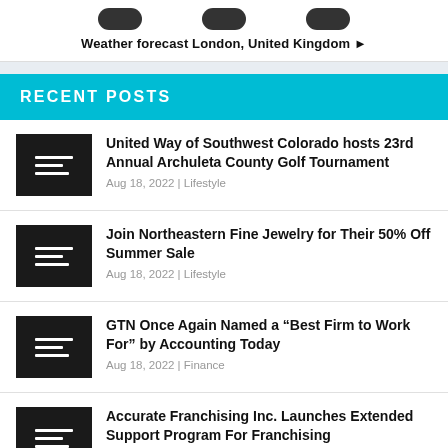[Figure (illustration): Weather icons (cloud shapes) and a link saying 'Weather forecast London, United Kingdom ►']
RECENT POSTS
United Way of Southwest Colorado hosts 23rd Annual Archuleta County Golf Tournament | Aug 18, 2022 | Lifestyle
Join Northeastern Fine Jewelry for Their 50% Off Summer Sale | Aug 18, 2022 | Lifestyle
GTN Once Again Named a "Best Firm to Work For" by Accounting Today | Aug 18, 2022 | Finance
Accurate Franchising Inc. Launches Extended Support Program For Franchising...